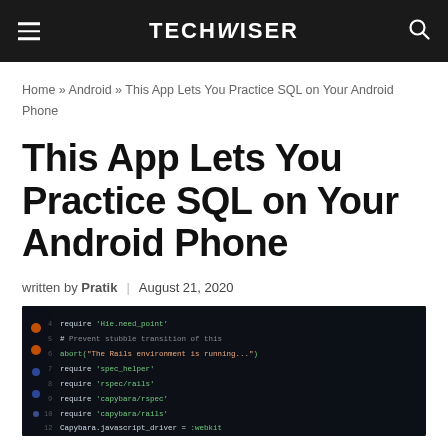TECHWISER
Home » Android » This App Lets You Practice SQL on Your Android Phone
This App Lets You Practice SQL on Your Android Phone
written by Pratik  |  August 21, 2020
[Figure (photo): Screenshot of a code editor on a dark background showing various require statements and JavaScript/Node.js code lines in green and orange text]